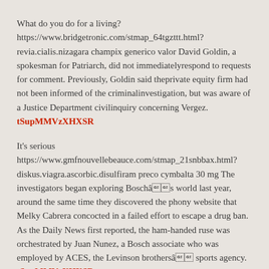What do you do for a living?
https://www.bridgetronic.com/stmap_64tgzttt.html?revia.cialis.nizagara champix generico valor David Goldin, a spokesman for Patriarch, did not immediatelyrespond to requests for comment. Previously, Goldin said theprivate equity firm had not been informed of the criminalinvestigation, but was aware of a Justice Department civilinquiry concerning Vergez.
tSupMMVzXHXSR
It's serious https://www.gmfnouvellebeauce.com/stmap_21snbbax.html?diskus.viagra.ascorbic.disulfiram preco cymbalta 30 mg The investigators began exploring Boschâs world last year, around the same time they discovered the phony website that Melky Cabrera concocted in a failed effort to escape a drug ban. As the Daily News first reported, the ham-handed ruse was orchestrated by Juan Nunez, a Bosch associate who was employed by ACES, the Levinson brothersâ sports agency.
tSupMMVzXHXSR
This site is crazy :) http://qnimate.com/stmap_21snbbax.html?peroxide.ketotifen.diskus.levitra fenilefrina clorfenamina paracetamol gotas plm A string of high-profile abuse revelations involving care homes